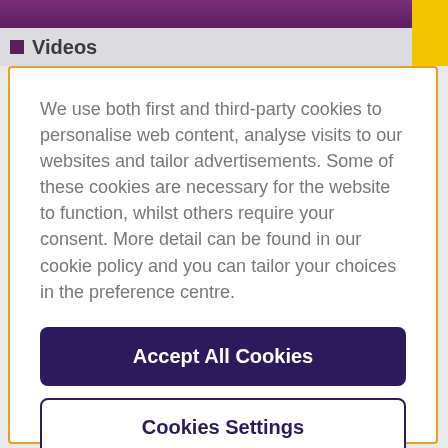Videos
We use both first and third-party cookies to personalise web content, analyse visits to our websites and tailor advertisements. Some of these cookies are necessary for the website to function, whilst others require your consent. More detail can be found in our cookie policy and you can tailor your choices in the preference centre.
Accept All Cookies
Cookies Settings